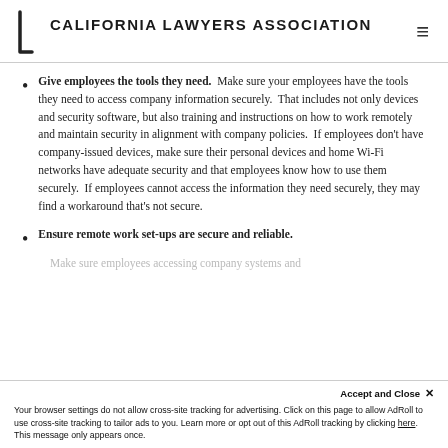CALIFORNIA LAWYERS ASSOCIATION
Give employees the tools they need.  Make sure your employees have the tools they need to access company information securely.  That includes not only devices and security software, but also training and instructions on how to work remotely and maintain security in alignment with company policies.  If employees don't have company-issued devices, make sure their personal devices and home Wi-Fi networks have adequate security and that employees know how to use them securely.  If employees cannot access the information they need securely, they may find a workaround that's not secure.
Ensure remote work set-ups are secure and reliable.  Make sure employees accessing company systems and...
Accept and Close ✕ Your browser settings do not allow cross-site tracking for advertising. Click on this page to allow AdRoll to use cross-site tracking to tailor ads to you. Learn more or opt out of this AdRoll tracking by clicking here. This message only appears once.